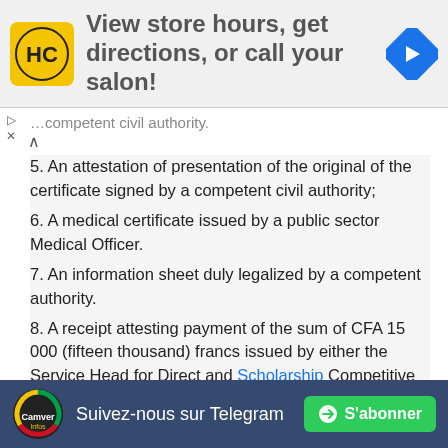[Figure (infographic): Advertisement banner: HC salon logo on yellow background, text 'View store hours, get directions, or call your salon!', blue navigation arrow icon on right]
...competent civil authority.
5. An attestation of presentation of the original of the certificate signed by a competent civil authority;
6. A medical certificate issued by a public sector Medical Officer.
7. An information sheet duly legalized by a competent authority.
8. A receipt attesting payment of the sum of CFA 15 000 (fifteen thousand) francs issued by either the Service Head for Direct and Scholarship Competitive Examinations at the Ministry or the Service Head for Recruitment and Training at the Regional Delegations of the Ministry of the Public...
[Figure (infographic): Footer bar with Cameroon flag-colored circular logo, text 'Suivez-nous sur Telegram', and green 'S'abonner' button with Telegram icon]